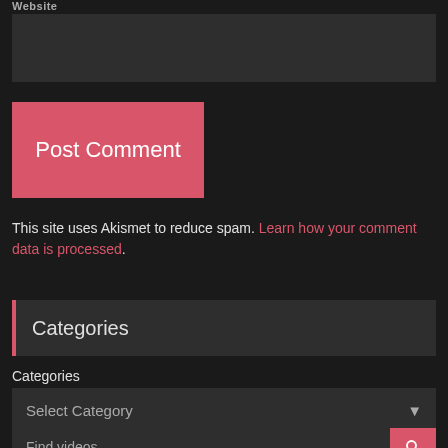Website
[Figure (screenshot): Dark grey textarea input box for comment entry]
[Figure (screenshot): Red/pink 'Post Comment' button]
This site uses Akismet to reduce spam. Learn how your comment data is processed.
Categories
Categories
[Figure (screenshot): Dropdown selector showing 'Select Category' with down arrow]
[Figure (screenshot): Search bar showing 'Find videos' with red search button]